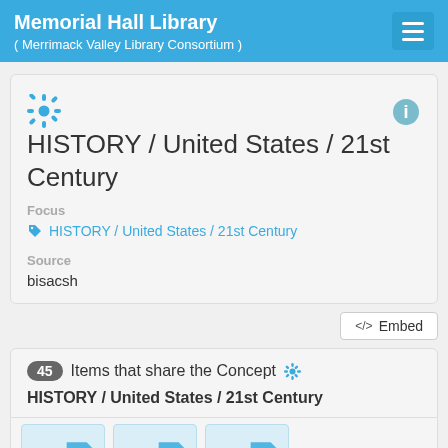Memorial Hall Library ( Merrimack Valley Library Consortium )
HISTORY / United States / 21st Century
Focus
HISTORY / United States / 21st Century
Source
bisacsh
45 Items that share the Concept HISTORY / United States / 21st Century